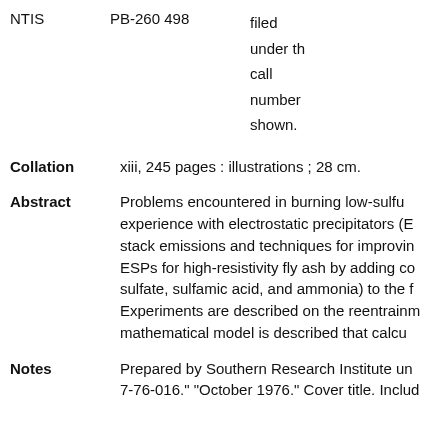NTIS   PB-260 498   filed under the call number shown.
Collation   xiii, 245 pages : illustrations ; 28 cm.
Abstract   Problems encountered in burning low-sulfur coal and experience with electrostatic precipitators (ESPs) on stack emissions and techniques for improving ESPs for high-resistivity fly ash by adding conditioning agents (sulfate, sulfamic acid, and ammonia) to the flue gas. Experiments are described on the reentrainment and a mathematical model is described that calculates...
Notes   Prepared by Southern Research Institute under contract 7-76-016." "October 1976." Cover title. Includes...